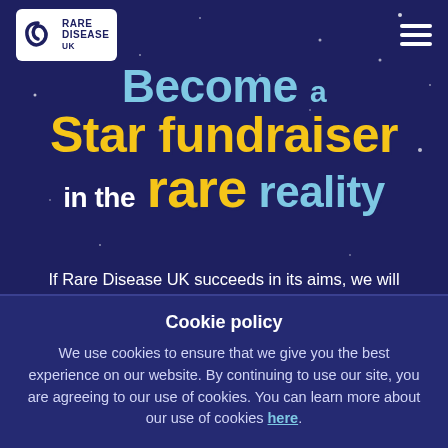[Figure (logo): Rare Disease UK logo with stylized spiral icon and white background]
Become a Star fundraiser in the rare reality
If Rare Disease UK succeeds in its aims, we will improve treatment, care and support for everyone affected by rare diseases. This is why we need your support, find out more about where your money goes
Cookie policy
We use cookies to ensure that we give you the best experience on our website. By continuing to use our site, you are agreeing to our use of cookies. You can learn more about our use of cookies here.